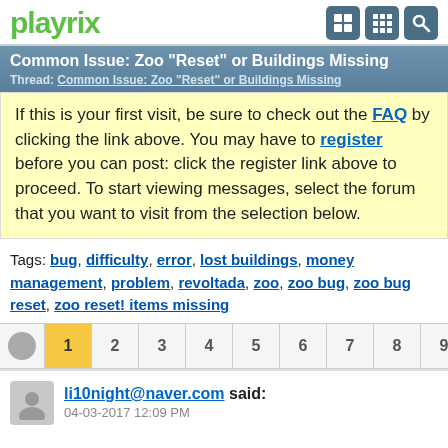playrix
Common Issue: Zoo "Reset" or Buildings Missing
Thread: Common Issue: Zoo "Reset" or Buildings Missing
If this is your first visit, be sure to check out the FAQ by clicking the link above. You may have to register before you can post: click the register link above to proceed. To start viewing messages, select the forum that you want to visit from the selection below.
Tags: bug, difficulty, error, lost buildings, money management, problem, revoltada, zoo, zoo bug, zoo bug reset, zoo reset! items missing
1 2 3 4 5 6 7 8 9
li10night@naver.com said:
04-03-2017 12:09 PM